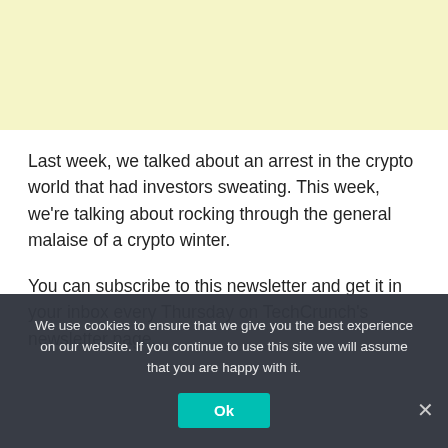[Figure (other): Light yellow advertisement banner at the top of the page]
Last week, we talked about an arrest in the crypto world that had investors sweating. This week, we're talking about rocking through the general malaise of a crypto winter.
You can subscribe to this newsletter and get it in your inbox every Thursday on TechCrunch's newsletter page.
[Figure (screenshot): TechCrunch article image preview with TechCrunch logo visible]
We use cookies to ensure that we give you the best experience on our website. If you continue to use this site we will assume that you are happy with it.